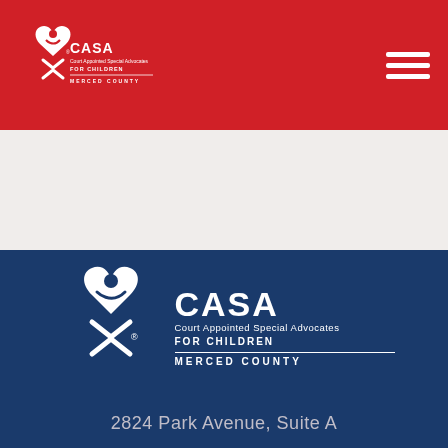[Figure (logo): CASA Court Appointed Special Advocates For Children Merced County logo in header on red background]
[Figure (logo): CASA Court Appointed Special Advocates For Children Merced County large logo on dark blue background]
2824 Park Avenue, Suite A
PO Box 2362
Merced, CA 95344
(209) 722-CASA Phone
(209) 722-2270 Fax